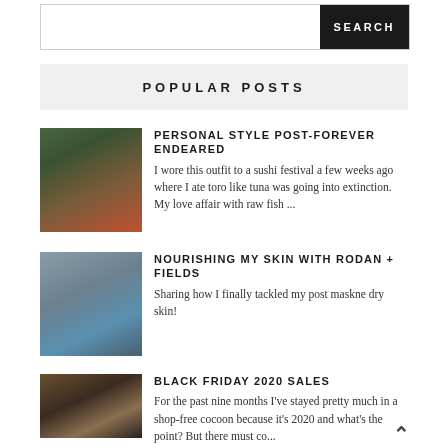POPULAR POSTS
PERSONAL STYLE POST-FOREVER ENDEARED
I wore this outfit to a sushi festival a few weeks ago where I ate toro like tuna was going into extinction. My love affair with raw fish ...
NOURISHING MY SKIN WITH RODAN + FIELDS
Sharing how I finally tackled my post maskne dry skin!
BLACK FRIDAY 2020 SALES
For the past nine months I've stayed pretty much in a shop-free cocoon because it's 2020 and what's the point? But there must co...